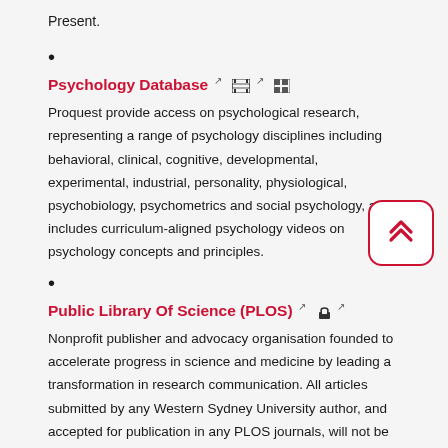Present.
•
Psychology Database
Proquest provide access on psychological research, representing a range of psychology disciplines including behavioral, clinical, cognitive, developmental, experimental, industrial, personality, physiological, psychobiology, psychometrics and social psychology, and includes curriculum-aligned psychology videos on psychology concepts and principles.
•
Public Library Of Science (PLOS)
Nonprofit publisher and advocacy organisation founded to accelerate progress in science and medicine by leading a transformation in research communication. All articles submitted by any Western Sydney University author, and accepted for publication in any PLOS journals, will not be subject to any Article Processing Charges.